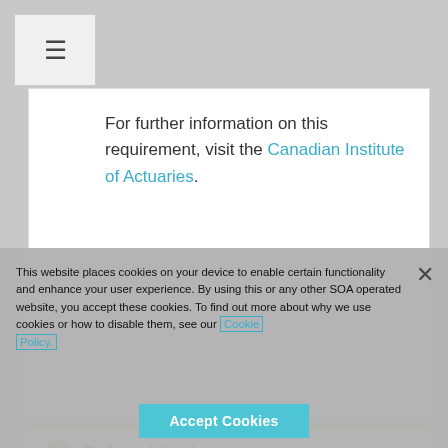[Figure (screenshot): Hamburger menu button icon (three horizontal lines) in a light gray box in the top left corner]
For further information on this requirement, visit the Canadian Institute of Actuaries.
Related Links
This website places cookies on your device to enable certain functionality and enhance your user experience. By using this or any other SOA operated website, you accept these cookies. To find out more about why we use cookies or how to disable them, see our Cookie Policy.
Accept Cookies